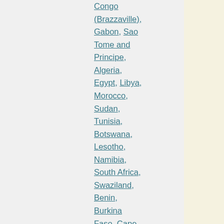Congo (Brazzaville), Gabon, Sao Tome and Principe, Algeria, Egypt, Libya, Morocco, Sudan, Tunisia, Botswana, Lesotho, Namibia, South Africa, Swaziland, Benin, Burkina Faso, Cape Verde, Ivory Coast, Gambia, Ghana,